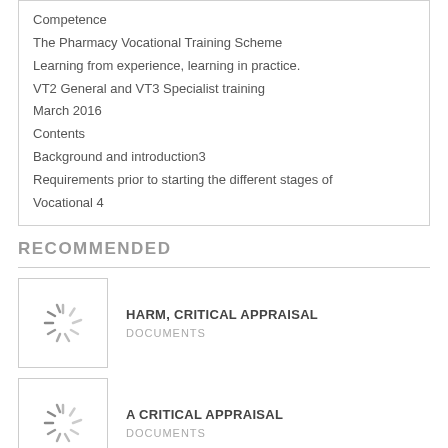Competence
The Pharmacy Vocational Training Scheme
Learning from experience, learning in practice.
VT2 General and VT3 Specialist training
March 2016
Contents
Background and introduction3
Requirements prior to starting the different stages of Vocational 4
RECOMMENDED
[Figure (other): Loading spinner thumbnail for HARM, CRITICAL APPRAISAL document]
HARM, CRITICAL APPRAISAL
DOCUMENTS
[Figure (other): Loading spinner thumbnail for A CRITICAL APPRAISAL document]
A CRITICAL APPRAISAL
DOCUMENTS
[Figure (other): Loading spinner thumbnail for partially visible third item]